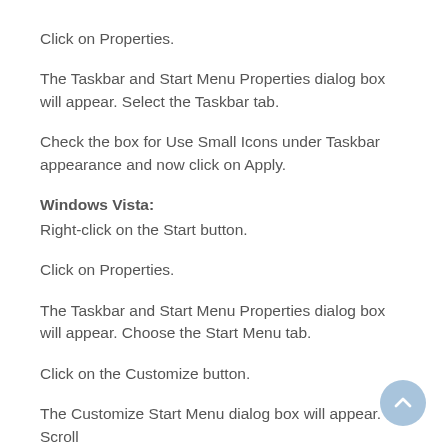Click on Properties.
The Taskbar and Start Menu Properties dialog box will appear. Select the Taskbar tab.
Check the box for Use Small Icons under Taskbar appearance and now click on Apply.
Windows Vista:
Right-click on the Start button.
Click on Properties.
The Taskbar and Start Menu Properties dialog box will appear. Choose the Start Menu tab.
Click on the Customize button.
The Customize Start Menu dialog box will appear. Scroll to the bottom of the box and uncheck the box for "Use...